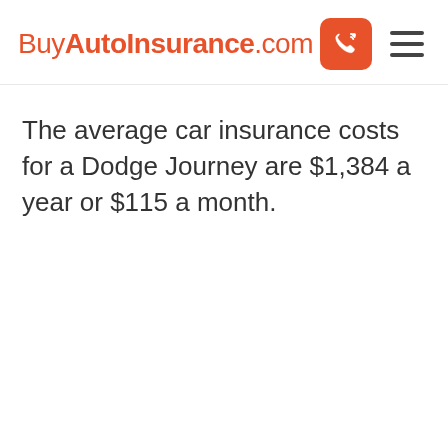BuyAutoInsurance.com
The average car insurance costs for a Dodge Journey are $1,384 a year or $115 a month.